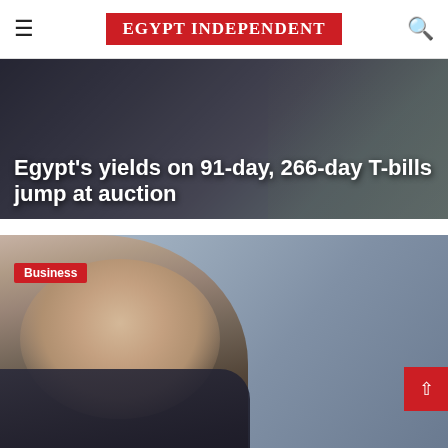EGYPT INDEPENDENT
[Figure (photo): Background photo of currency/money with dark overlay. Article headline reads: Egypt's yields on 91-day, 266-day T-bills jump at auction]
Egypt's yields on 91-day, 266-day T-bills jump at auction
[Figure (photo): Photo of a man in a suit with a blue/grey background. Business category tag visible in top-left corner.]